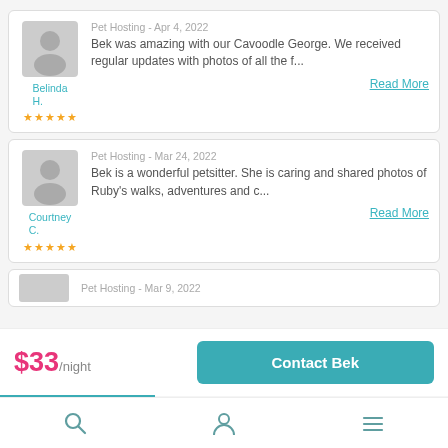Pet Hosting - Apr 4, 2022
Bek was amazing with our Cavoodle George. We received regular updates with photos of all the f...
Read More
Belinda H.
★★★★★
Pet Hosting - Mar 24, 2022
Bek is a wonderful petsitter. She is caring and shared photos of Ruby's walks, adventures and c...
Read More
Courtney C.
★★★★★
Pet Hosting - Mar 9, 2022
$33/night
Contact Bek